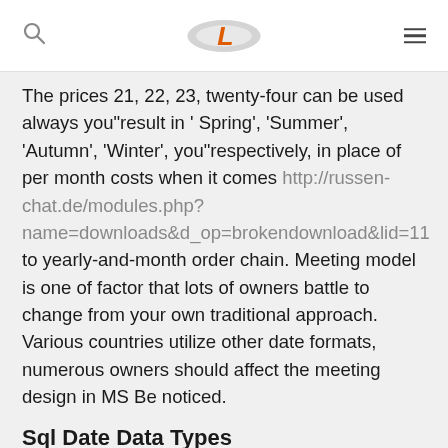[Logo] [Search icon] [Menu icon]
The prices 21, 22, 23, twenty-four can be used always you"result in ' Spring', 'Summer', 'Autumn', 'Winter', you"respectively, in place of per month costs when it comes http://russen-chat.de/modules.php?name=downloads&d_op=brokendownload&lid=11 to yearly-and-month order chain. Meeting model is one of factor that lots of owners battle to change from your own traditional approach. Various countries utilize other date formats, numerous owners should affect the meeting design in MS Be noticed.
Sql Date Data Types
Their running psyche is definitely a decyou"reased